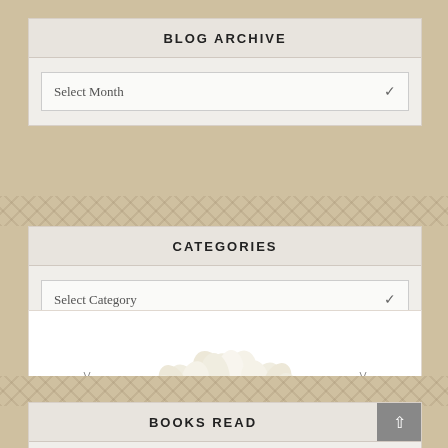BLOG ARCHIVE
Select Month
CATEGORIES
Select Category
[Figure (illustration): Decorative floral illustration with cream/white magnolia blossoms and green leaves, flanked by two small butterflies on a horizontal striped ribbon/divider]
BOOKS READ
(Click Tab For Titles)